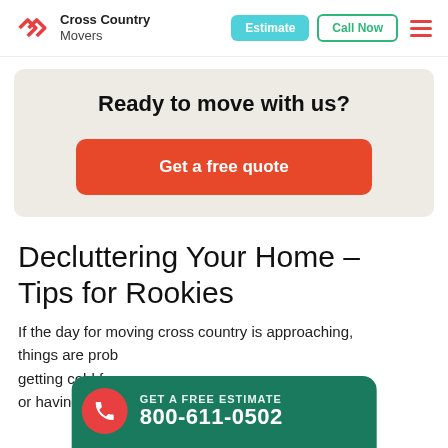Cross Country Movers — Estimate | Call Now
Ready to move with us?
Get a free quote
Decluttering Your Home – Tips for Rookies
If the day for moving cross country is approaching, things are probably getting cold feet ... or having fights with your loved one as it can happen
GET A FREE ESTIMATE 800-611-0502